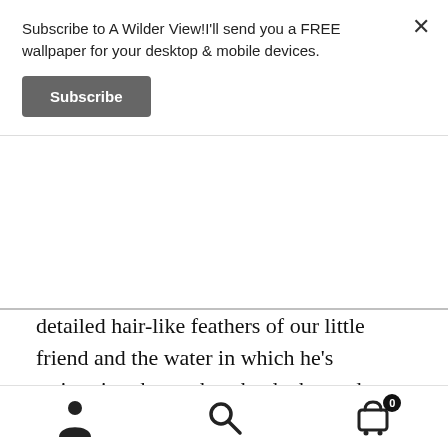Subscribe to A Wilder View!I'll send you a FREE wallpaper for your desktop & mobile devices.
Subscribe
detailed hair-like feathers of our little friend and the water in which he's swimming that makes the duck stand out.
This is the final cropped composition for this painting, but I painted more water than you see here. As most of my paintings end up on licensed products, I painted more of the background to allow for different Pacific Music and Art templates
[Figure (screenshot): Bottom navigation bar with user/account icon, search icon, and shopping cart icon with badge showing 0]